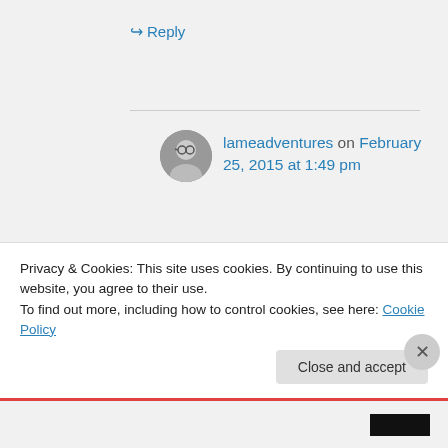↪ Reply
lameadventures on February 25, 2015 at 1:49 pm
I will definitely see Boyhood when it hits Netflix or HBO — my two sources of streaming. It sounds like you need the day to extend to 30
Privacy & Cookies: This site uses cookies. By continuing to use this website, you agree to their use.
To find out more, including how to control cookies, see here: Cookie Policy
Close and accept